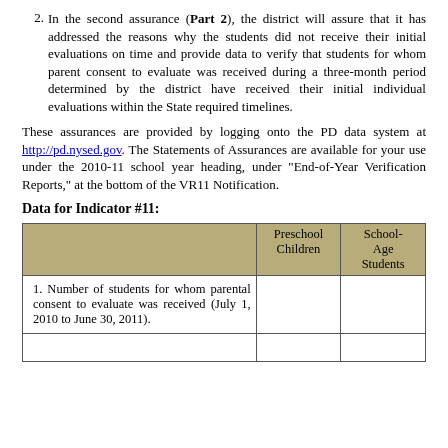2. In the second assurance (Part 2), the district will assure that it has addressed the reasons why the students did not receive their initial evaluations on time and provide data to verify that students for whom parent consent to evaluate was received during a three-month period determined by the district have received their initial individual evaluations within the State required timelines.
These assurances are provided by logging onto the PD data system at http://pd.nysed.gov. The Statements of Assurances are available for your use under the 2010-11 school year heading, under "End-of-Year Verification Reports," at the bottom of the VR11 Notification.
Data for Indicator #11:
|  | Preschool Children | School-Age Students |
| --- | --- | --- |
| 1. Number of students for whom parental consent to evaluate was received (July 1, 2010 to June 30, 2011). |  |  |
|  |  |  |